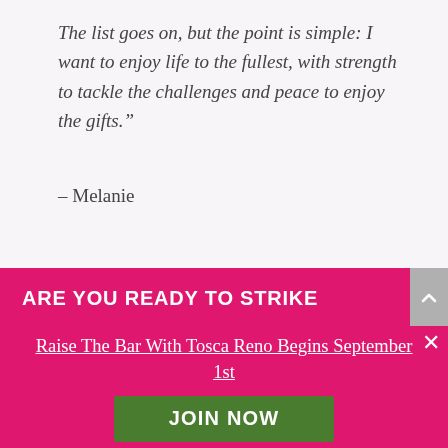The list goes on, but the point is simple: I want to enjoy life to the fullest, with strength to tackle the challenges and peace to enjoy the gifts.”
– Melanie
ARE YOU READY TO STRIKE
Raise The Bar With Tosca Reno Begins September 1st
JOIN NOW